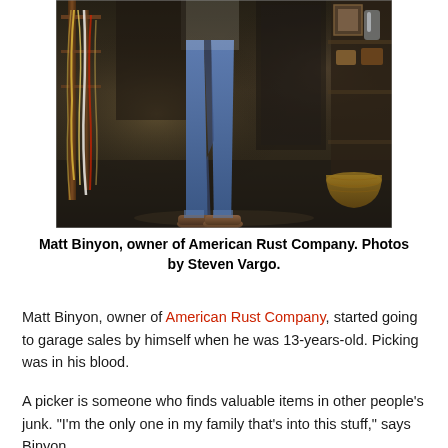[Figure (photo): Matt Binyon standing in a cluttered antique/junk shop interior. Jewelry and necklaces hang on a rack to the left. He is wearing jeans and brown boots. Various items and shelves visible on the right side. Dark, atmospheric interior shot.]
Matt Binyon, owner of American Rust Company. Photos by Steven Vargo.
Matt Binyon, owner of American Rust Company, started going to garage sales by himself when he was 13-years-old. Picking was in his blood.
A picker is someone who finds valuable items in other people's junk. "I'm the only one in my family that's into this stuff," says Binyon.